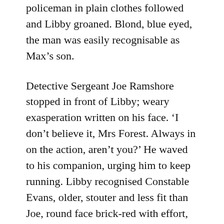policeman in plain clothes followed and Libby groaned. Blond, blue eyed, the man was easily recognisable as Max’s son.
Detective Sergeant Joe Ramshore stopped in front of Libby; weary exasperation written on his face. ‘I don’t believe it, Mrs Forest. Always in on the action, aren’t you?’ He waved to his companion, urging him to keep running. Libby recognised Constable Evans, older, stouter and less fit than Joe, round face brick-red with effort, panting and gasping as he stumbled higher.
Joe groaned. ‘I might have known you’d be involved, Mrs Forest. Did you phone it in?’ His raised eyebrows and folded arms made Libby feel like a criminal. It must be a trick he